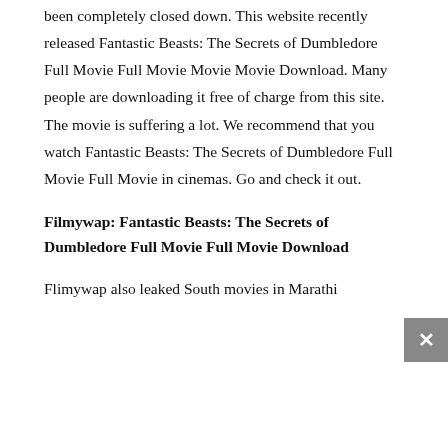been completely closed down. This website recently released Fantastic Beasts: The Secrets of Dumbledore Full Movie Full Movie Movie Movie Download. Many people are downloading it free of charge from this site. The movie is suffering a lot. We recommend that you watch Fantastic Beasts: The Secrets of Dumbledore Full Movie Full Movie in cinemas. Go and check it out.
Filmywap: Fantastic Beasts: The Secrets of Dumbledore Full Movie Full Movie Download
Flimywap also leaked South movies in Marathi and Hindi. This website...